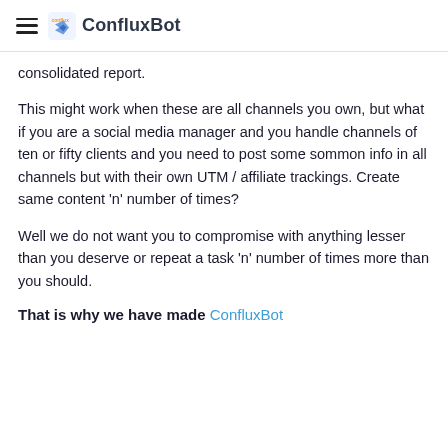ConfluxBot
consolidated report.
This might work when these are all channels you own, but what if you are a social media manager and you handle channels of ten or fifty clients and you need to post some sommon info in all channels but with their own UTM / affiliate trackings. Create same content 'n' number of times?
Well we do not want you to compromise with anything lesser than you deserve or repeat a task 'n' number of times more than you should.
That is why we have made ConfluxBot